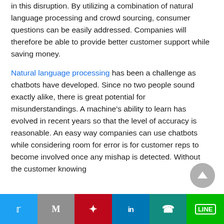in this disruption. By utilizing a combination of natural language processing and crowd sourcing, consumer questions can be easily addressed. Companies will therefore be able to provide better customer support while saving money.
Natural language processing has been a challenge as chatbots have developed. Since no two people sound exactly alike, there is great potential for misunderstandings. A machine's ability to learn has evolved in recent years so that the level of accuracy is reasonable. An easy way companies can use chatbots while considering room for error is for customer reps to become involved once any mishap is detected. Without the customer knowing...
Twitter | Gmail | Pinterest | LinkedIn | WhatsApp | LINE